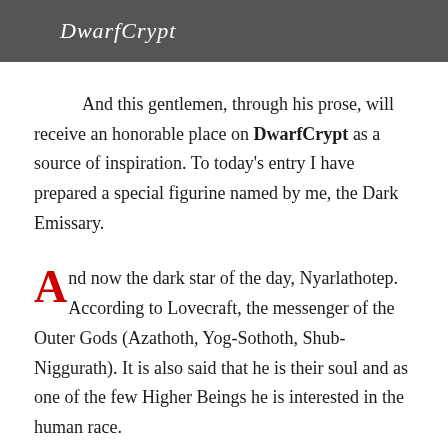DwarfCrypt
And this gentlemen, through his prose, will receive an honorable place on DwarfCrypt as a source of inspiration. To today's entry I have prepared a special figurine named by me, the Dark Emissary.
And now the dark star of the day, Nyarlathotep. According to Lovecraft, the messenger of the Outer Gods (Azathoth, Yog-Sothoth, Shub-Niggurath). It is also said that he is their soul and as one of the few Higher Beings he is interested in the human race.
Long ago, it was foretold, perhaps in an ominous